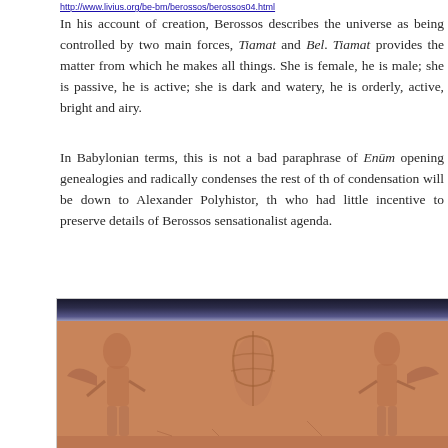http://www.livius.org/be-bm/berossos/berossos04.html
In his account of creation, Berossos describes the universe as being controlled by two main forces, Tiamat and Bel. Tiamat provides the matter from which he makes all things. She is female, he is male; she is passive, he is active; she is dark and watery, he is orderly, active, bright and airy.
In Babylonian terms, this is not a bad paraphrase of Enūm... opening genealogies and radically condenses the rest of th... of condensation will be down to Alexander Polyhistor, th... who had little incentive to preserve details of Berossos... sensationalist agenda.
[Figure (photo): Ancient Babylonian clay tablet or cylinder seal impression showing carved relief figures, terracotta colored with scenes of figures and mythological imagery]